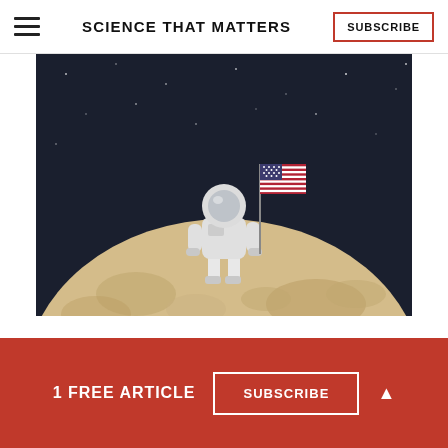SCIENCE THAT MATTERS
[Figure (illustration): Illustration of an astronaut in a white spacesuit standing on the moon, holding an American flag. Dark starry space background. The moon surface is shown as a large tan/beige sphere with crater markings.]
THE SCIENCES
1 FREE ARTICLE
SUBSCRIBE